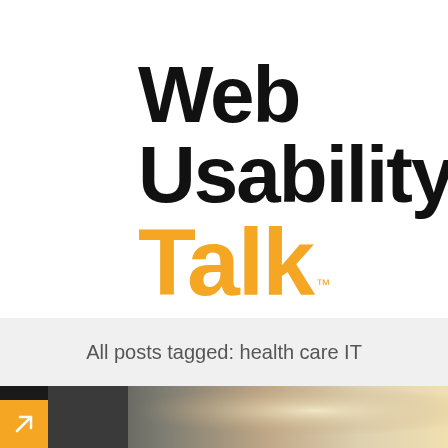Web Usability Talk™
All posts tagged: health care IT
[Figure (photo): Blurred background photo of a desk or table with warm bokeh lighting, partially visible at the bottom of the page. An orange arrow box is overlaid at the bottom left corner.]